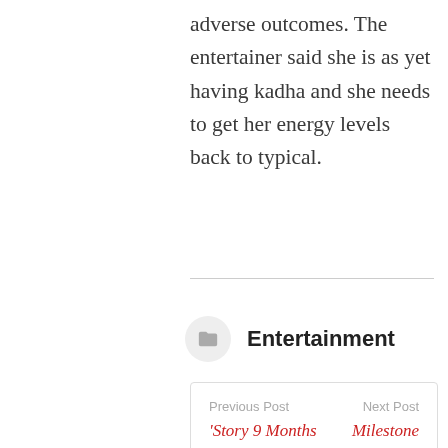adverse outcomes. The entertainer said she is as yet having kadha and she needs to get her energy levels back to typical.
Entertainment
Previous Post
‘Story 9 Months Ki’ ends abruptly & goes off-air amid Covid-19
Next Post
Milestone